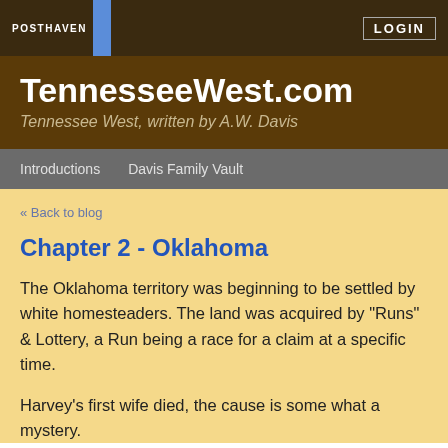POSTHAVEN  LOGIN
TennesseeWest.com
Tennessee West, written by A.W. Davis
Introductions  Davis Family Vault
« Back to blog
Chapter 2 - Oklahoma
The Oklahoma territory was beginning to be settled by white homesteaders. The land was acquired by "Runs" & Lottery, a Run being a race for a claim at a specific time.
Harvey's first wife died, the cause is some what a mystery.